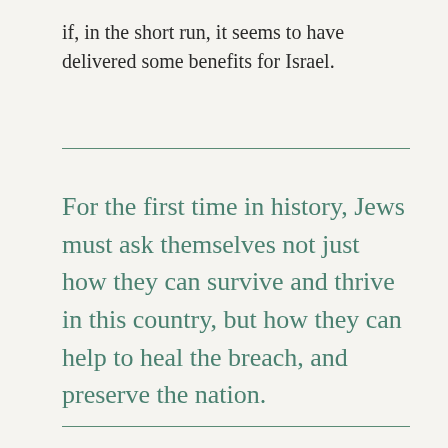if, in the short run, it seems to have delivered some benefits for Israel.
For the first time in history, Jews must ask themselves not just how they can survive and thrive in this country, but how they can help to heal the breach, and preserve the nation.